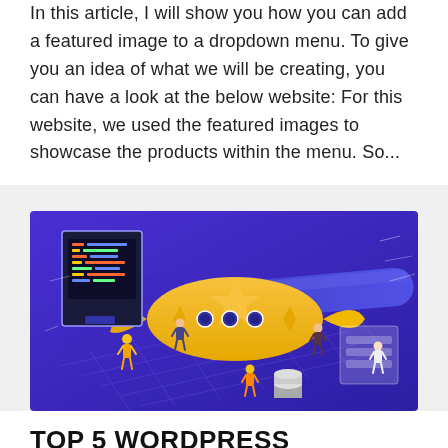In this article, I will show you how you can add a featured image to a dropdown menu. To give you an idea of what we will be creating, you can have a look at the below website: For this website, we used the featured images to showcase the products within the menu. So...
[Figure (illustration): Isometric illustration showing a large yellow rocket/torpedo with circular windows, surrounded by small human figures, a coding monitor screen, a database cylinder, and geometric shapes on a purple/blue gradient background.]
TOP 5 WORDPRESS